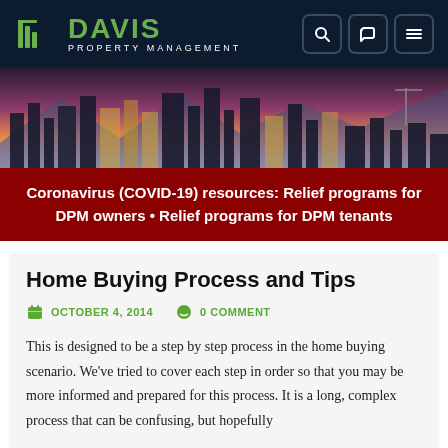Davis Property Management
[Figure (photo): City skyline at dusk with mountains in background]
Coronavirus (COVID-19) resources: Relief programs for DPM owners • Relief programs for DPM tenants
Home Buying Process and Tips
OCTOBER 4, 2014   0 COMMENT
This is designed to be a step by step process in the home buying scenario. We've tried to cover each step in order so that you may be more informed and prepared for this process. It is a long, complex process that can be confusing, but hopefully with a good list to refer to, so you may come along...